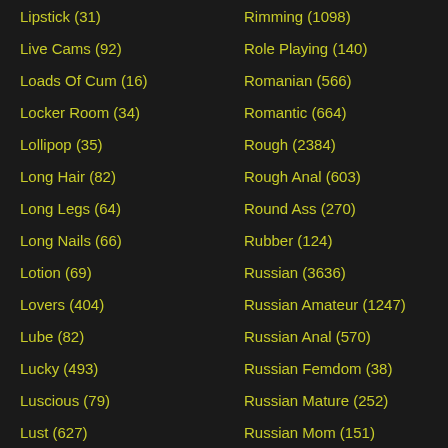Lipstick (31)
Live Cams (92)
Loads Of Cum (16)
Locker Room (34)
Lollipop (35)
Long Hair (82)
Long Legs (64)
Long Nails (66)
Lotion (69)
Lovers (404)
Lube (82)
Lucky (493)
Luscious (79)
Lust (627)
MILF (31853)
Rimming (1098)
Role Playing (140)
Romanian (566)
Romantic (664)
Rough (2384)
Rough Anal (603)
Round Ass (270)
Rubber (124)
Russian (3636)
Russian Amateur (1247)
Russian Anal (570)
Russian Femdom (38)
Russian Mature (252)
Russian Mom (151)
Russian Outdoor (76)